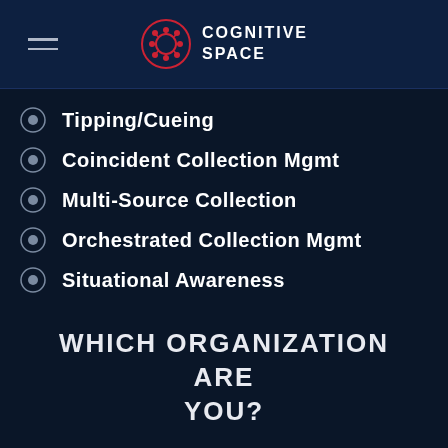COGNITIVE SPACE
Tipping/Cueing
Coincident Collection Mgmt
Multi-Source Collection
Orchestrated Collection Mgmt
Situational Awareness
WHICH ORGANIZATION ARE YOU?